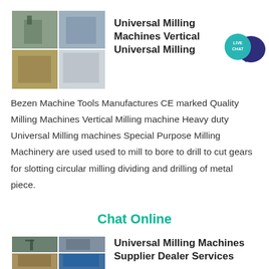[Figure (photo): Collage of milling machine photos showing industrial equipment]
Universal Milling Machines Vertical Universal Milling
[Figure (illustration): Live Chat speech bubble badge in teal and dark blue]
Bezen Machine Tools Manufactures CE marked Quality Milling Machines Vertical Milling machine Heavy duty Universal Milling machines Special Purpose Milling Machinery are used used to mill to bore to drill to cut gears for slotting circular milling dividing and drilling of metal piece.
Chat Online
[Figure (photo): Collage of industrial facility and machinery photos]
Universal Milling Machines Supplier Dealer Services